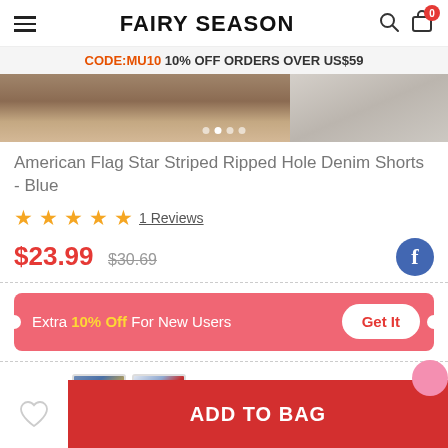FAIRY SEASON
CODE:MU10 10% OFF ORDERS OVER US$59
[Figure (photo): Product photo strip showing American Flag denim shorts - two panels, left panel showing the shorts worn, right panel showing another view on a stone background]
American Flag Star Striped Ripped Hole Denim Shorts - Blue
★★★★★ 1 Reviews
$23.99  $30.69
Extra 10% Off For New Users  Get It
Color :
[Figure (photo): Two color thumbnail swatches for denim shorts]
ADD TO BAG